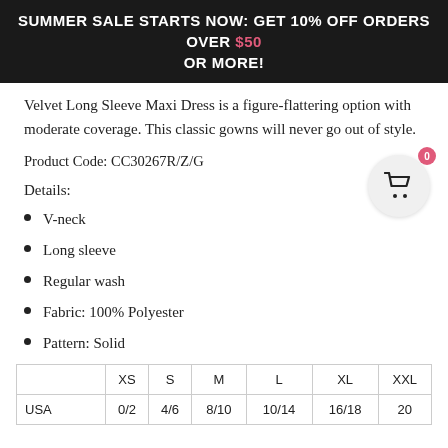SUMMER SALE STARTS NOW: GET 10% OFF ORDERS OVER $50 OR MORE!
Velvet Long Sleeve Maxi Dress is a figure-flattering option with moderate coverage. This classic gowns will never go out of style.
Product Code: CC30267R/Z/G
Details:
V-neck
Long sleeve
Regular wash
Fabric: 100% Polyester
Pattern: Solid
|  | XS | S | M | L | XL | XXL |
| --- | --- | --- | --- | --- | --- | --- |
| USA | 0/2 | 4/6 | 8/10 | 10/14 | 16/18 | 20 |